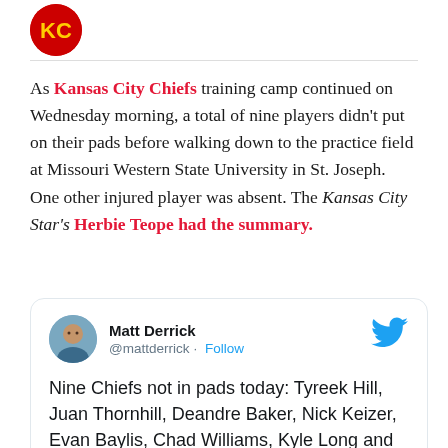[Figure (logo): Kansas City Chiefs red circular logo at top left]
As Kansas City Chiefs training camp continued on Wednesday morning, a total of nine players didn't put on their pads before walking down to the practice field at Missouri Western State University in St. Joseph. One other injured player was absent. The Kansas City Star's Herbie Teope had the summary.
[Figure (screenshot): Tweet by @mattderrick (Matt Derrick) with Twitter bird logo and Follow button. Tweet text: 'Nine Chiefs not in pads today: Tyreek Hill, Juan Thornhill, Deandre Baker, Nick Keizer, Evan Baylis, Chad Williams, Kyle Long and Malik Herring. Mike Remmers not here.']